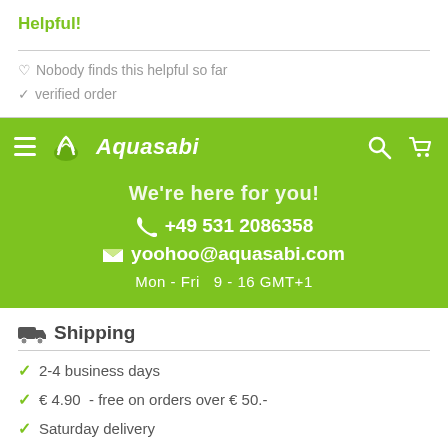Helpful!
Nobody finds this helpful so far
verified order
Aquasabi
We're here for you!
+49 531 2086358
yoohoo@aquasabi.com
Mon - Fri  9 - 16 GMT+1
Shipping
2-4 business days
€ 4.90  - free on orders over € 50.-
Saturday delivery
Package tracking